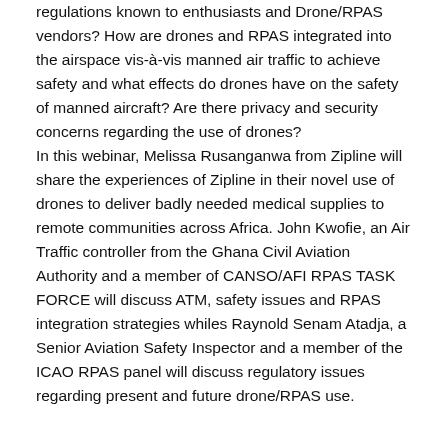regulations known to enthusiasts and Drone/RPAS vendors? How are drones and RPAS integrated into the airspace vis-à-vis manned air traffic to achieve safety and what effects do drones have on the safety of manned aircraft? Are there privacy and security concerns regarding the use of drones? In this webinar, Melissa Rusanganwa from Zipline will share the experiences of Zipline in their novel use of drones to deliver badly needed medical supplies to remote communities across Africa. John Kwofie, an Air Traffic controller from the Ghana Civil Aviation Authority and a member of CANSO/AFI RPAS TASK FORCE will discuss ATM, safety issues and RPAS integration strategies whiles Raynold Senam Atadja, a Senior Aviation Safety Inspector and a member of the ICAO RPAS panel will discuss regulatory issues regarding present and future drone/RPAS use.